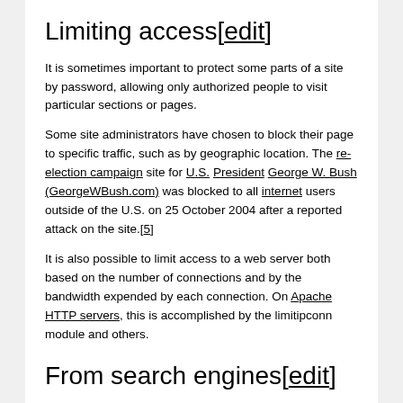Limiting access[edit]
It is sometimes important to protect some parts of a site by password, allowing only authorized people to visit particular sections or pages.
Some site administrators have chosen to block their page to specific traffic, such as by geographic location. The re-election campaign site for U.S. President George W. Bush (GeorgeWBush.com) was blocked to all internet users outside of the U.S. on 25 October 2004 after a reported attack on the site.[5]
It is also possible to limit access to a web server both based on the number of connections and by the bandwidth expended by each connection. On Apache HTTP servers, this is accomplished by the limitipconn module and others.
From search engines[edit]